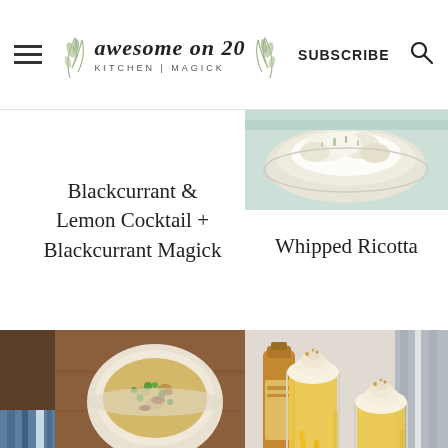Awesome on 20 | KITCHEN | MAGICK | SUBSCRIBE
Blackcurrant & Lemon Cocktail + Blackcurrant Magick
[Figure (photo): Whipped ricotta dish photo at the top right]
Whipped Ricotta
[Figure (photo): Two bowls of pasta with peas and meat]
[Figure (photo): Two tall glasses of orange milkshake-style drink with yellow straws and whipped cream topping]